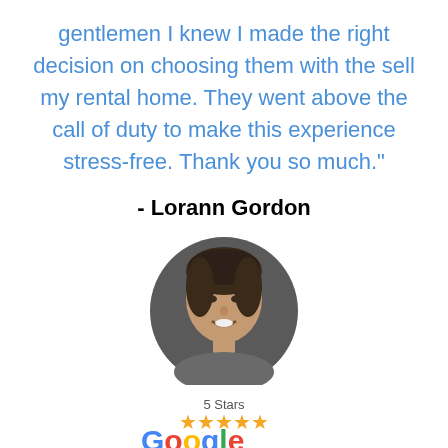gentlemen I knew I made the right decision on choosing them with the sell my rental home. They went above the call of duty to make this experience stress-free. Thank you so much."
- Lorann Gordon
[Figure (photo): Circular headshot photo of a woman with short dark hair, smiling, against a dark background.]
[Figure (logo): Google 5-star review logo with '5 Stars' text above five gold stars and partial Google wordmark below.]